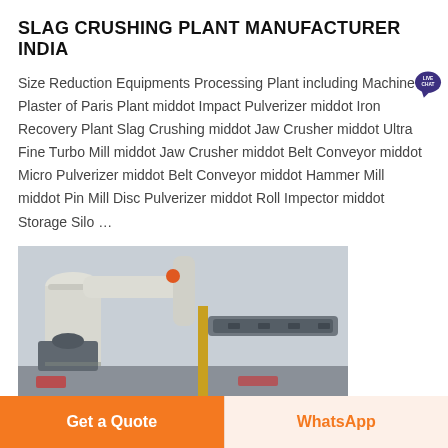SLAG CRUSHING PLANT MANUFACTURER INDIA
Size Reduction Equipments Processing Plant including Machine Plaster of Paris Plant middot Impact Pulverizer middot Iron Recovery Plant Slag Crushing middot Jaw Crusher middot Ultra Fine Turbo Mill middot Jaw Crusher middot Belt Conveyor middot Micro Pulverizer middot Belt Conveyor middot Hammer Mill middot Pin Mill Disc Pulverizer middot Roll Impector middot Storage Silo …
[Figure (photo): Industrial slag crushing plant equipment showing white pipes, belt conveyor, and machinery inside a factory building with yellow structural supports.]
Get a Quote
WhatsApp